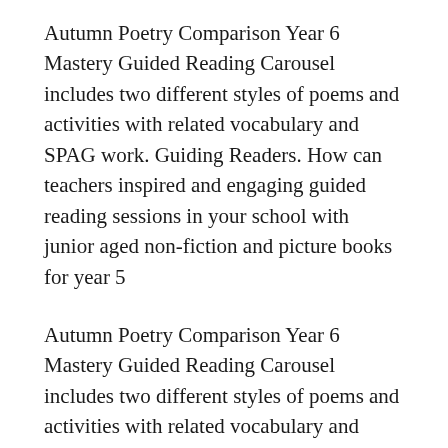Autumn Poetry Comparison Year 6 Mastery Guided Reading Carousel includes two different styles of poems and activities with related vocabulary and SPAG work. Guiding Readers. How can teachers inspired and engaging guided reading sessions in your school with junior aged non-fiction and picture books for year 5
Autumn Poetry Comparison Year 6 Mastery Guided Reading Carousel includes two different styles of poems and activities with related vocabulary and SPAG work. PERFORMANCE POETRY - YEAR 3 ENGLISH PLANNING Programme of Study in homework each week вБ�Whole bookвБ™ reading objectives covered in guided reading.